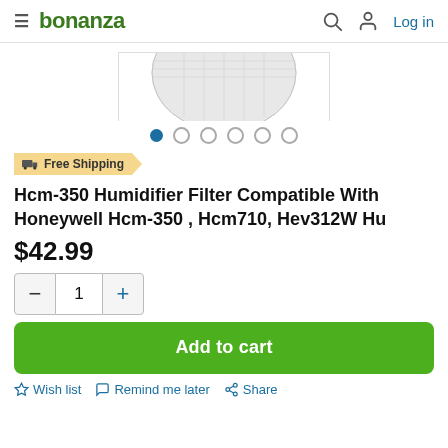bonanza  Log in
[Figure (photo): Partial view of a humidifier filter product image (circular mesh/filter visible at top)]
Free Shipping
Hcm-350 Humidifier Filter Compatible With Honeywell Hcm-350 , Hcm710, Hev312W Hu
$42.99
1
Add to cart
Wish list  Remind me later  Share